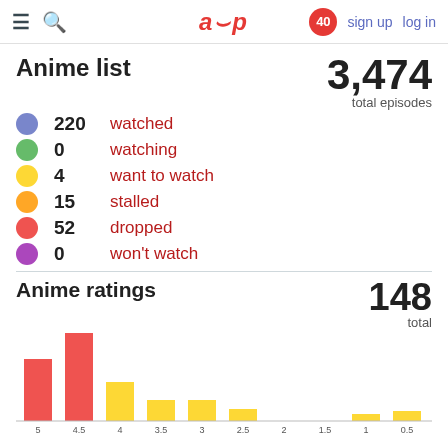≡  🔍   aup   40   sign up   log in
Anime list
3,474 total episodes
220  watched
0  watching
4  want to watch
15  stalled
52  dropped
0  won't watch
Anime ratings
148 total
[Figure (bar-chart): Anime ratings distribution]